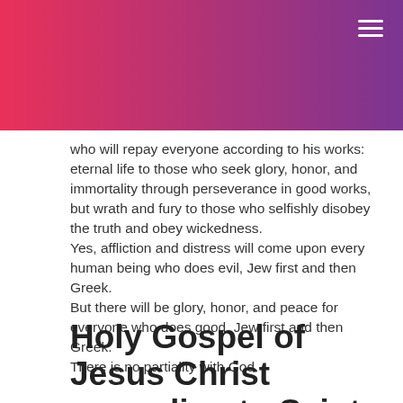[Figure (other): Header banner with gradient from pink/red on the left to purple on the right, with a hamburger menu icon (three white horizontal lines) in the top-right corner.]
who will repay everyone according to his works: eternal life to those who seek glory, honor, and immortality through perseverance in good works, but wrath and fury to those who selfishly disobey the truth and obey wickedness.
Yes, affliction and distress will come upon every human being who does evil, Jew first and then Greek.
But there will be glory, honor, and peace for everyone who does good, Jew first and then Greek.
There is no partiality with God.
Holy Gospel of Jesus Christ according to Saint